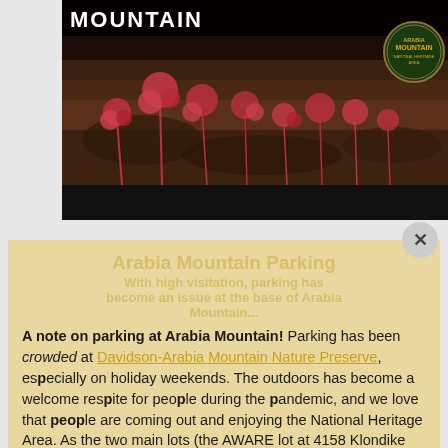[Figure (photo): Aerial/ground-level photo of Arabia Mountain area showing red plants/shrubs against dark rocky ground, with 'MOUNTAIN' text overlay at top and Arabia Mountain National Heritage Area badge/logo in top right corner. Black bar at bottom of photo.]
Arabia Mountain Parking
A note on parking at Arabia Mountain! Parking has been crowded at Davidson-Arabia Mountain Nature Preserve, especially on holiday weekends. The outdoors has become a welcome respite for people during the pandemic, and we love that people are coming out and enjoying the National Heritage Area. As the two main lots (the AWARE lot at 4158 Klondike Road and the Nature Center lot at